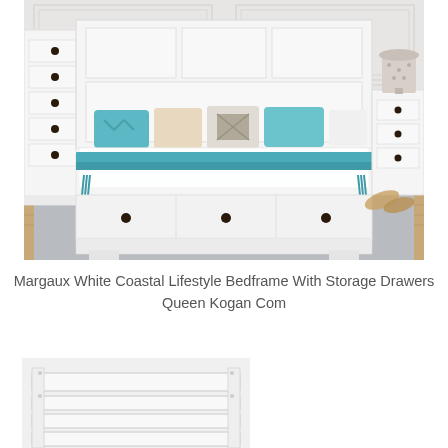[Figure (photo): White coastal lifestyle bedroom set featuring a queen bed frame with storage drawers at the base, decorative teal and patterned pillows, white bedding with a teal runner, flanked by white dressers and a nightstand with a lamp, on a light grey rug over wood flooring.]
Margaux White Coastal Lifestyle Bedframe With Storage Drawers Queen Kogan Com
[Figure (photo): Partial view of a white bed frame or headboard component shown at the bottom of the page, appears to be a product detail or alternate view image, cropped.]